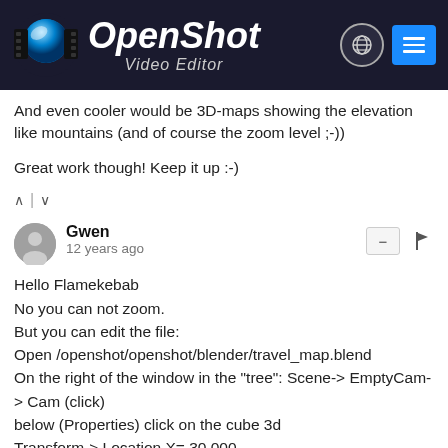[Figure (logo): OpenShot Video Editor logo with globe and hamburger menu icons]
And even cooler would be 3D-maps showing the elevation like mountains (and of course the zoom level ;-))
Great work though! Keep it up :-)
Gwen · 12 years ago
Hello Flamekebab
No you can not zoom.
But you can edit the file:
Open /openshot/openshot/blender/travel_map.blend
On the right of the window in the "tree": Scene-> EmptyCam-> Cam (click)
below (Properties) click on the cube 3d
Transform-> Location X= 30,000
you can put 20
press f12: you have a preview